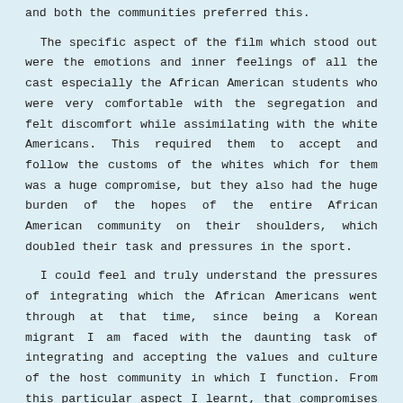and both the communities preferred this.
The specific aspect of the film which stood out were the emotions and inner feelings of all the cast especially the African American students who were very comfortable with the segregation and felt discomfort while assimilating with the white Americans. This required them to accept and follow the customs of the whites which for them was a huge compromise, but they also had the huge burden of the hopes of the entire African American community on their shoulders, which doubled their task and pressures in the sport.
I could feel and truly understand the pressures of integrating which the African Americans went through at that time, since being a Korean migrant I am faced with the daunting task of integrating and accepting the values and culture of the host community in which I function. From this particular aspect I learnt, that compromises are made at every level when you have to leave your native country behind and settling down comfortably in another land requires you to completely change your culture and traditions, that you are into, to yourself and become a f...